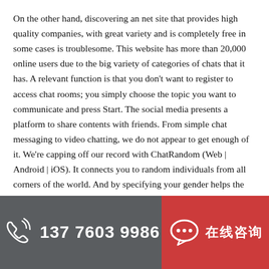On the other hand, discovering an net site that provides high quality companies, with great variety and is completely free in some cases is troublesome. This website has more than 20,000 online users due to the big variety of categories of chats that it has. A relevant function is that you don't want to register to access chat rooms; you simply choose the topic you want to communicate and press Start. The social media presents a platform to share contents with friends. From simple chat messaging to video chatting, we do not appear to get enough of it. We're capping off our record with ChatRandom (Web | Android | iOS). It connects you to random individuals from all corners of the world. And by specifying your gender helps the site to look out top-of-the-line match for you.
Conversations are stored private utilizing peer-to-peer connections.
Chathub | New Omegle Alternative with enhanced filtering options.
It only takes a few seconds to match you with a stranger.
[Figure (infographic): Footer bar split into two sections: left dark grey section with phone icon and number 137 7603 9986, right red section with chat bubble icon and Chinese characters]